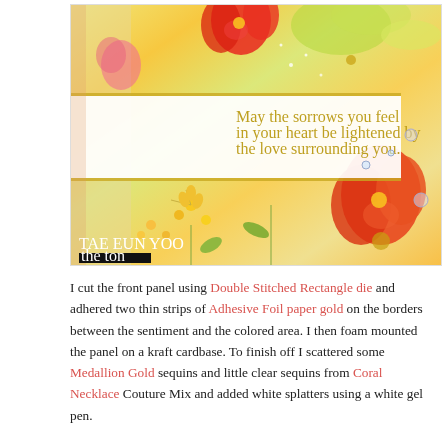[Figure (photo): A handmade greeting card with colorful floral background in shades of red, orange, yellow and green. A white sentiment strip across the middle reads 'May the sorrows you feel in your heart be lightened by the love surrounding you.' in gold italic script. Gold foil strips border the sentiment strip. Sequins are scattered. Creator watermark: TAE EUN YOO / the ton.]
I cut the front panel using Double Stitched Rectangle die and adhered two thin strips of Adhesive Foil paper gold on the borders between the sentiment and the colored area. I then foam mounted the panel on a kraft cardbase. To finish off I scattered some Medallion Gold sequins and little clear sequins from Coral Necklace Couture Mix and added white splatters using a white gel pen.